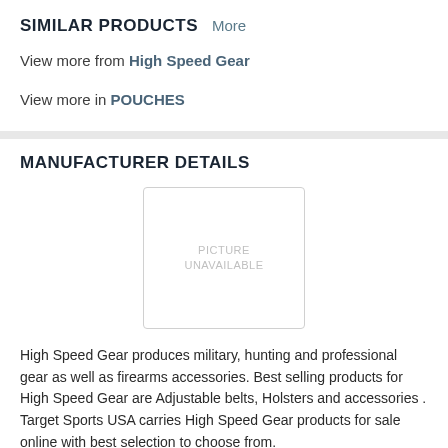SIMILAR PRODUCTS   More
View more from High Speed Gear
View more in POUCHES
MANUFACTURER DETAILS
[Figure (other): Picture unavailable placeholder image box]
High Speed Gear produces military, hunting and professional gear as well as firearms accessories. Best selling products for High Speed Gear are Adjustable belts, Holsters and accessories . Target Sports USA carries High Speed Gear products for sale online with best selection to choose from.
More